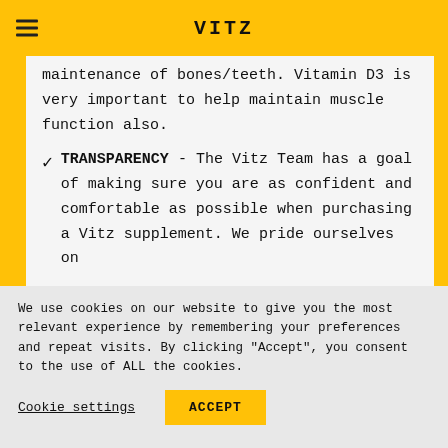VITZ
maintenance of bones/teeth. Vitamin D3 is very important to help maintain muscle function also.
✓ TRANSPARENCY - The Vitz Team has a goal of making sure you are as confident and comfortable as possible when purchasing a Vitz supplement. We pride ourselves on
We use cookies on our website to give you the most relevant experience by remembering your preferences and repeat visits. By clicking "Accept", you consent to the use of ALL the cookies.
Cookie settings  ACCEPT